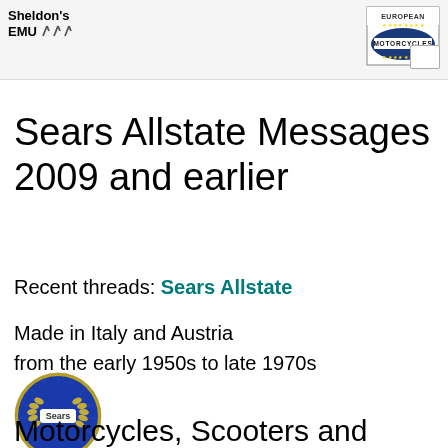Sheldon's EMU
[Figure (logo): European Motorcycles badge/logo in top right corner]
Sears Allstate Messages 2009 and earlier
Recent threads: Sears Allstate
Made in Italy and Austria from the early 1950s to late 1970s
[Figure (logo): Sears round blue badge logo with laurel wreath]
Motorcycles, Scooters and Mopeds